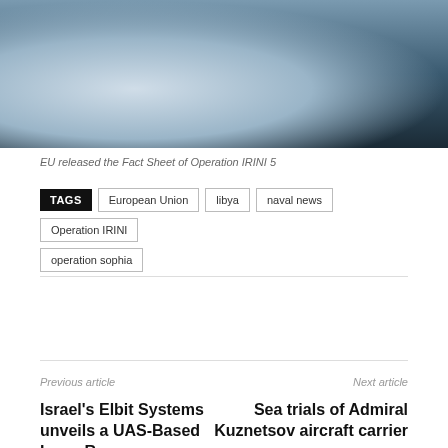[Figure (photo): Partial view of a naval vessel at sea, showing dark hull and grey ocean water]
EU released the Fact Sheet of Operation IRINI 5
TAGS  European Union  libya  naval news  Operation IRINI  operation sophia
Previous article
Next article
Israel's Elbit Systems unveils a UAS-Based Long-Range
Sea trials of Admiral Kuznetsov aircraft carrier